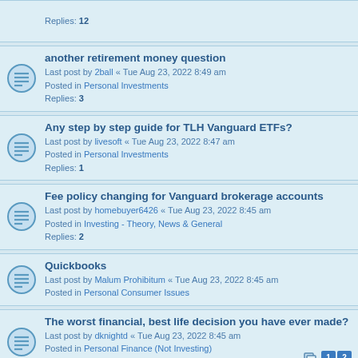Replies: 12
another retirement money question
Last post by 2ball « Tue Aug 23, 2022 8:49 am
Posted in Personal Investments
Replies: 3
Any step by step guide for TLH Vanguard ETFs?
Last post by livesoft « Tue Aug 23, 2022 8:47 am
Posted in Personal Investments
Replies: 1
Fee policy changing for Vanguard brokerage accounts
Last post by homebuyer6426 « Tue Aug 23, 2022 8:45 am
Posted in Investing - Theory, News & General
Replies: 2
Quickbooks
Last post by Malum Prohibitum « Tue Aug 23, 2022 8:45 am
Posted in Personal Consumer Issues
The worst financial, best life decision you have ever made?
Last post by dknightd « Tue Aug 23, 2022 8:45 am
Posted in Personal Finance (Not Investing)
Replies: 70
TIAA GRSA policies
Last post by tibbitts « Tue Aug 23, 2022 8:44 am
Posted in Personal Investments
Replies: 8
Impulsiveness To Market Time
Last post by invest2bfree « Tue Aug 23, 2022 8:44 am
Posted in Investing - Theory, News & General
Replies: 41